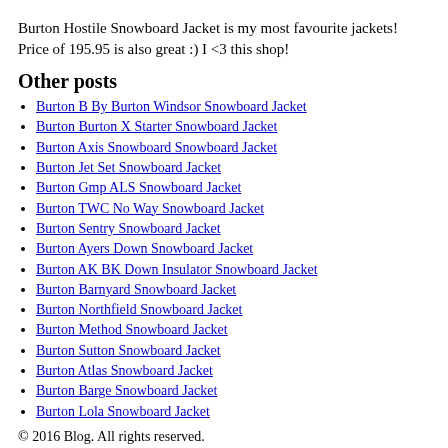Burton Hostile Snowboard Jacket is my most favourite jackets! Price of 195.95 is also great :) I <3 this shop!
Other posts
Burton B By Burton Windsor Snowboard Jacket
Burton Burton X Starter Snowboard Jacket
Burton Axis Snowboard Snowboard Jacket
Burton Jet Set Snowboard Jacket
Burton Gmp ALS Snowboard Jacket
Burton TWC No Way Snowboard Jacket
Burton Sentry Snowboard Jacket
Burton Ayers Down Snowboard Jacket
Burton AK BK Down Insulator Snowboard Jacket
Burton Barnyard Snowboard Jacket
Burton Northfield Snowboard Jacket
Burton Method Snowboard Jacket
Burton Sutton Snowboard Jacket
Burton Atlas Snowboard Jacket
Burton Barge Snowboard Jacket
Burton Lola Snowboard Jacket
© 2016 Blog. All rights reserved.